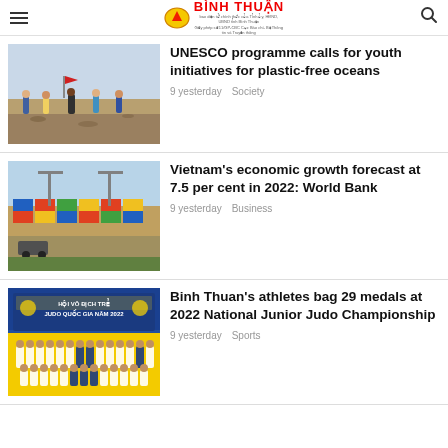Binh Thuan newspaper header with menu, logo, and search
[Figure (photo): People collecting trash/litter on a beach or sandy area with scattered debris]
UNESCO programme calls for youth initiatives for plastic-free oceans
9 yesterday   Society
[Figure (photo): Aerial view of a container port/shipping yard with colorful stacked containers]
Vietnam's economic growth forecast at 7.5 per cent in 2022: World Bank
9 yesterday   Business
[Figure (photo): Group photo of judo athletes at 2022 National Junior Judo Championship with banner in background]
Binh Thuan's athletes bag 29 medals at 2022 National Junior Judo Championship
9 yesterday   Sports